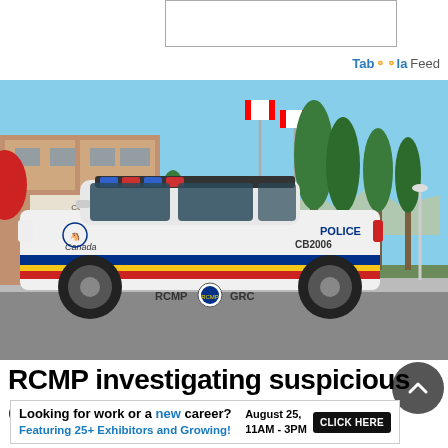[Figure (other): Empty advertisement placeholder box at top of page]
Taboola Feed
[Figure (photo): RCMP police SUV (white Ford Explorer with RCMP/GRC markings, CB2006 unit number, red-yellow-blue stripe) parked in front of a building with Canadian flags and trees in the background on a sunny day.]
RCMP investigating suspicious death in
[Figure (other): Advertisement banner: 'Looking for work or a new career? August 25, 11AM - 3PM. Featuring 25+ Exhibitors and Growing! CLICK HERE']